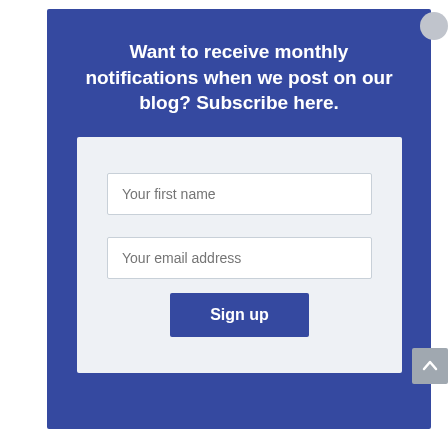Want to receive monthly notifications when we post on our blog? Subscribe here.
[Figure (screenshot): A subscription form with two text input fields labeled 'Your first name' and 'Your email address', and a blue 'Sign up' button, all on a light grey background panel.]